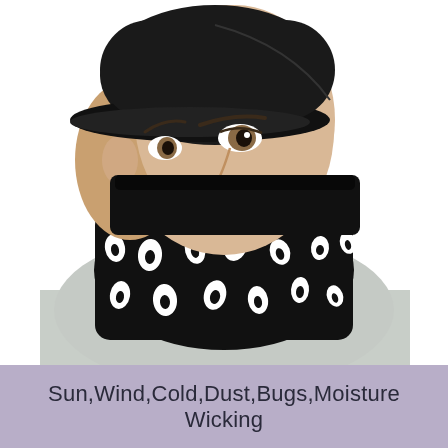[Figure (photo): A man wearing a black neck gaiter/face mask with white eye-like pattern, and a black baseball cap, gray t-shirt, on white background]
Sun,Wind,Cold,Dust,Bugs,Moisture Wicking